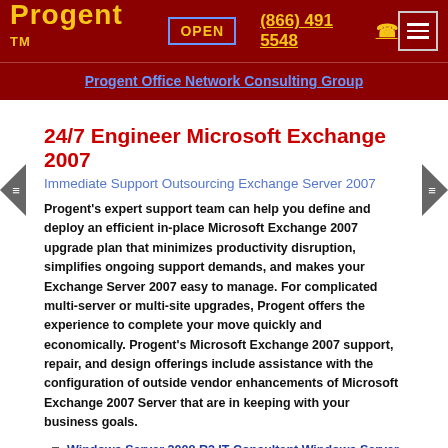Progent™  OPEN  (866) 491 5548  ≡
Progent Office Network Consulting Group
24/7 Engineer Microsoft Exchange 2007
Immediate Support Outsourcing Exchange Server 2007
Progent's expert support team can help you define and deploy an efficient in-place Microsoft Exchange 2007 upgrade plan that minimizes productivity disruption, simplifies ongoing support demands, and makes your Exchange Server 2007 easy to manage. For complicated multi-server or multi-site upgrades, Progent offers the experience to complete your move quickly and economically. Progent's Microsoft Exchange 2007 support, repair, and design offerings include assistance with the configuration of outside vendor enhancements of Microsoft Exchange 2007 Server that are in keeping with your business goals.
Windows Server 2008 R2 IT Consultant Windows Server 2008 Active Directory Online Consulting
Windows Server 2012 Server Consulting Setup Management